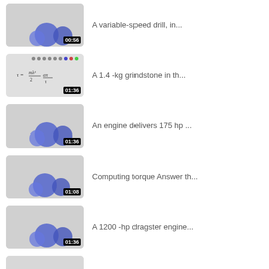[Figure (screenshot): Video thumbnail with blue circles and duration 00:56]
A variable-speed drill, in...
[Figure (screenshot): Video thumbnail with formula τ = mλ²/2 · aπ/τ and duration 01:36]
A 1.4 -kg grindstone in th...
[Figure (screenshot): Video thumbnail with blue circles and duration 01:36]
An engine delivers 175 hp ...
[Figure (screenshot): Video thumbnail with blue circles and duration 01:08]
Computing torque Answer th...
[Figure (screenshot): Video thumbnail with blue circles and duration 01:36]
A 1200 -hp dragster engine...
[Figure (screenshot): Video thumbnail with blue circles and duration 01:23]
A 1200 -hp dragster engine...